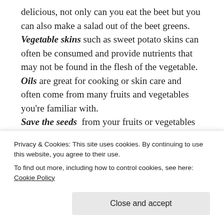delicious, not only can you eat the beet but you can also make a salad out of the beet greens. Vegetable skins such as sweet potato skins can often be consumed and provide nutrients that may not be found in the flesh of the vegetable. Oils are great for cooking or skin care and often come from many fruits and vegetables you're familiar with. Save the seeds from your fruits or vegetables and take a stab at making your own garden
Privacy & Cookies: This site uses cookies. By continuing to use this website, you agree to their use. To find out more, including how to control cookies, see here: Cookie Policy
Close and accept